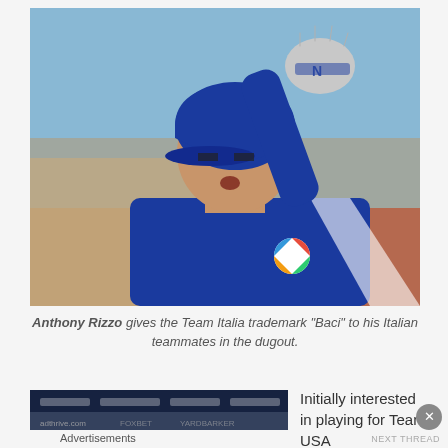[Figure (photo): Anthony Rizzo in a blue Team Italia baseball uniform and helmet, raising his right hand (wearing batting glove) toward the dugout, with eye black under his eyes.]
Anthony Rizzo gives the Team Italia trademark “Baci” to his Italian teammates in the dugout.
[Figure (screenshot): Advertisement banner image showing a dark blue background with text/logos.]
Advertisements
Initially interested in playing for Team USA